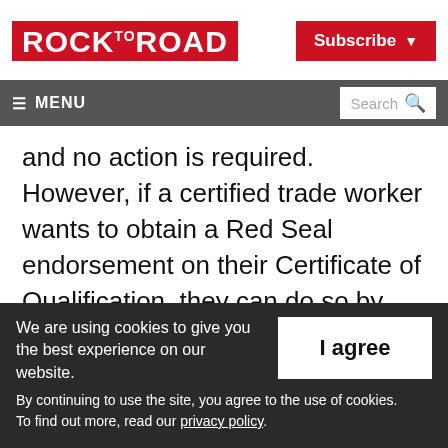[Figure (logo): Rock to Road logo - white text on red background]
Subscribe ▾
≡ MENU  Search 🔍
and no action is required. However, if a certified trade worker wants to obtain a Red Seal endorsement on their Certificate of Qualification, they can do so by passing the Interprovincial Red Seal exam.
Next steps in getting...
We are using cookies to give you the best experience on our website.
By continuing to use the site, you agree to the use of cookies.
To find out more, read our privacy policy.